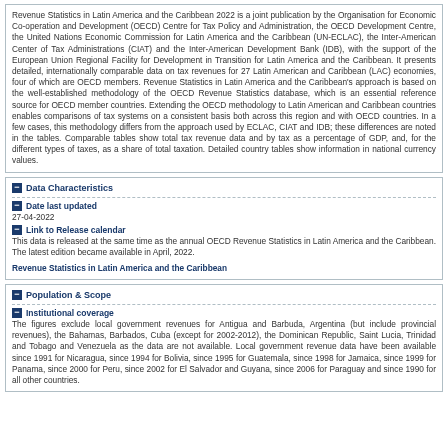Revenue Statistics in Latin America and the Caribbean 2022 is a joint publication by the Organisation for Economic Co-operation and Development (OECD) Centre for Tax Policy and Administration, the OECD Development Centre, the United Nations Economic Commission for Latin America and the Caribbean (UN-ECLAC), the Inter-American Center of Tax Administrations (CIAT) and the Inter-American Development Bank (IDB), with the support of the European Union Regional Facility for Development in Transition for Latin America and the Caribbean. It presents detailed, internationally comparable data on tax revenues for 27 Latin American and Caribbean (LAC) economies, four of which are OECD members. Revenue Statistics in Latin America and the Caribbean's approach is based on the well-established methodology of the OECD Revenue Statistics database, which is an essential reference source for OECD member countries. Extending the OECD methodology to Latin American and Caribbean countries enables comparisons of tax systems on a consistent basis both across this region and with OECD countries. In a few cases, this methodology differs from the approach used by ECLAC, CIAT and IDB; these differences are noted in the tables. Comparable tables show total tax revenue data and by tax as a percentage of GDP, and, for the different types of taxes, as a share of total taxation. Detailed country tables show information in national currency values.
Data Characteristics
Date last updated
27-04-2022
Link to Release calendar
This data is released at the same time as the annual OECD Revenue Statistics in Latin America and the Caribbean. The latest edition became available in April, 2022.
Revenue Statistics in Latin America and the Caribbean
Population & Scope
Institutional coverage
The figures exclude local government revenues for Antigua and Barbuda, Argentina (but include provincial revenues), the Bahamas, Barbados, Cuba (except for 2002-2012), the Dominican Republic, Saint Lucia, Trinidad and Tobago and Venezuela as the data are not available. Local government revenue data have been available since 1991 for Nicaragua, since 1994 for Bolivia, since 1995 for Guatemala, since 1998 for Jamaica, since 1999 for Panama, since 2000 for Peru, since 2002 for El Salvador and Guyana, since 2006 for Paraguay and since 1990 for all other countries.